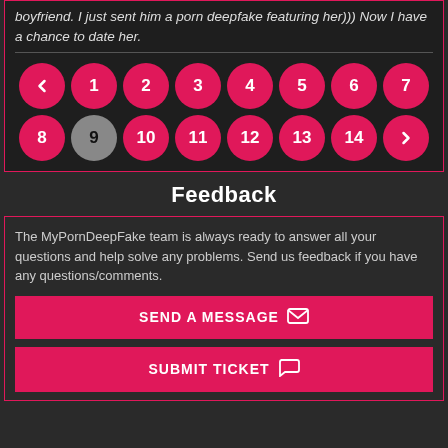boyfriend. I just sent him a porn deepfake featuring her))) Now I have a chance to date her.
[Figure (other): Pagination control with pink circular buttons: back arrow, 1, 2, 3, 4, 5, 6, 7, 8, 9 (current/grey), 10, 11, 12, 13, 14, forward arrow]
Feedback
The MyPornDeepFake team is always ready to answer all your questions and help solve any problems. Send us feedback if you have any questions/comments.
SEND A MESSAGE
SUBMIT TICKET